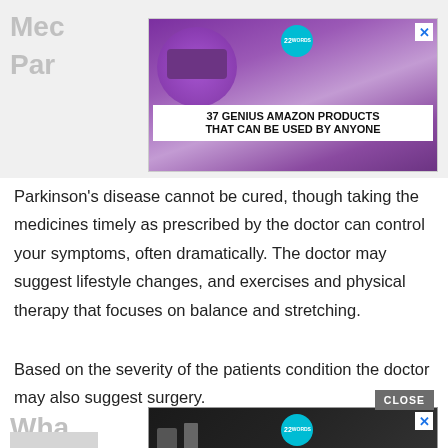Mec Par
[Figure (photo): Advertisement banner showing purple headphones on wood background with text '37 GENIUS AMAZON PRODUCTS THAT CAN BE USED BY ANYONE' and a 22 badge logo. Blue X close button in top right.]
Parkinson's disease cannot be cured, though taking the medicines timely as prescribed by the doctor can control your symptoms, often dramatically. The doctor may suggest lifestyle changes, and exercises and physical therapy that focuses on balance and stretching.
Based on the severity of the patients condition the doctor may also suggest surgery.
Wha
[Figure (photo): Advertisement banner showing dark background with cooking ingredients and knives with text '37 ITEMS PEOPLE LOVE TO PURCHASE ON AMAZON' and a 22 badge logo. Blue X close button in top right. CLOSE button above the ad.]